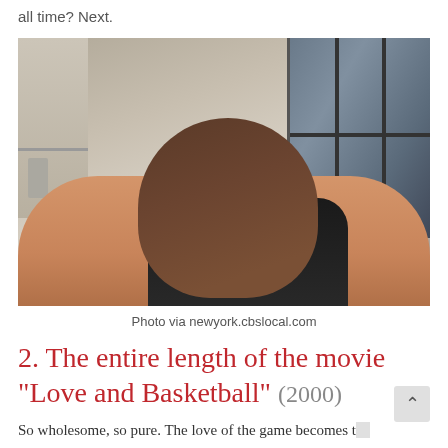all time? Next.
[Figure (photo): Two people kissing indoors, one shirtless lying down, the other leaning over in a dark shirt, with large windows in the background.]
Photo via newyork.cbslocal.com
2. The entire length of the movie “Love and Basketball” (2000)
So wholesome, so pure. The love of the game becomes the